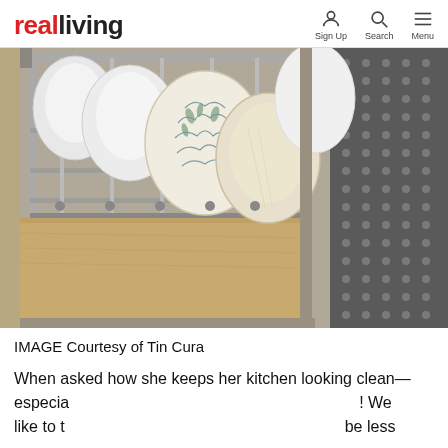realliving | Sign Up  Search  Menu
[Figure (photo): Close-up photo of dishes and bowls stored vertically in a pull-out cabinet drawer with metal plate holders, next to a textured dark mat. Wood-grain surface visible below.]
IMAGE Courtesy of Tin Cura
When asked how she keeps her kitchen looking clean— especia                                                ! We like to t                                                be less